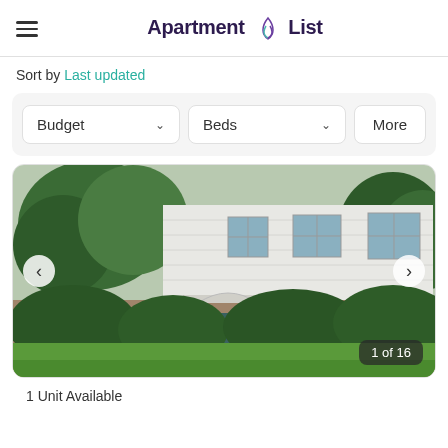Apartment List
Sort by Last updated
Budget  Beds  More
[Figure (photo): Two-story white house with green bushes and lawn in front, image carousel showing 1 of 16]
1 Unit Available